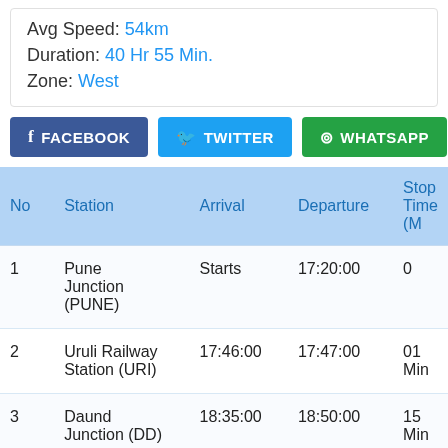Avg Speed: 54km
Duration: 40 Hr 55 Min.
Zone: West
[Figure (other): Social share buttons: FACEBOOK, TWITTER, WHATSAPP]
| No | Station | Arrival | Departure | Stop Time (M |
| --- | --- | --- | --- | --- |
| 1 | Pune Junction (PUNE) | Starts | 17:20:00 | 0 |
| 2 | Uruli Railway Station (URI) | 17:46:00 | 17:47:00 | 01 Min |
| 3 | Daund Junction (DD) | 18:35:00 | 18:50:00 | 15 Min |
| 4 |  | 20:22:00 | 20:25:00 | 03 Min |